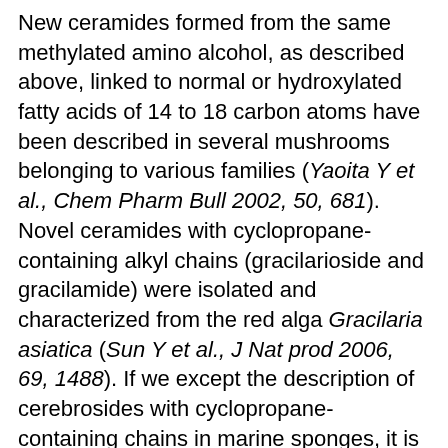New ceramides formed from the same methylated amino alcohol, as described above, linked to normal or hydroxylated fatty acids of 14 to 18 carbon atoms have been described in several mushrooms belonging to various families (Yaoita Y et al., Chem Pharm Bull 2002, 50, 681). Novel ceramides with cyclopropane-containing alkyl chains (gracilarioside and gracilamide) were isolated and characterized from the red alga Gracilaria asiatica (Sun Y et al., J Nat prod 2006, 69, 1488). If we except the description of cerebrosides with cyclopropane-containing chains in marine sponges, it is the first description of these structures in plants.
A ceramide analogue, complanine, an inflammation-inducing compound has been isolated from the marine fireworm (Eurythoe complanata, Polychaeta) (Nakamura K et al., Org Biomol Chem 2008, 6, 2058). Its structure could be characterized by a di-unsaturated aminoalcohol with 11 carbon